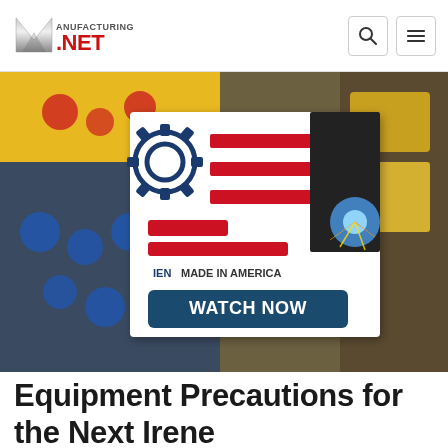Manufacturing.NET
[Figure (illustration): Manufacturing background photo with yellow bins of parts and industrial components on left and right. Overlaid advertisement card: IEN Made in America logo (gear + American flag stripes) with a welder at work, and a 'WATCH NOW' button in dark teal/navy.]
Equipment Precautions for the Next Irene